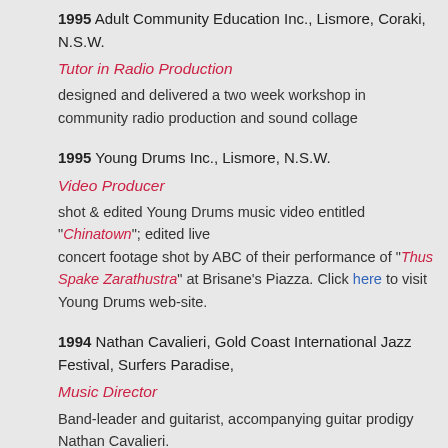1995 Adult Community Education Inc., Lismore, Coraki, N.S.W.
Tutor in Radio Production
designed and delivered a two week workshop in community radio production and sound collage
1995 Young Drums Inc., Lismore, N.S.W.
Video Producer
shot & edited Young Drums music video entitled "Chinatown"; edited live concert footage shot by ABC of their performance of "Thus Spake Zarathustra" at Brisane's Piazza. Click here to visit Young Drums web-site.
1994 Nathan Cavalieri, Gold Coast International Jazz Festival, Surfers Paradise,
Music Director
Band-leader and guitarist, accompanying guitar prodigy Nathan Cavalieri.
1994 to 1995